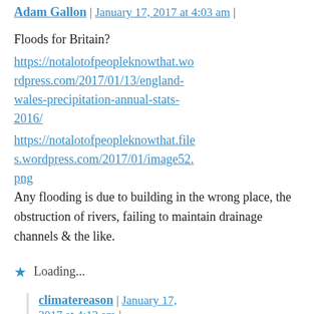Adam Gallon | January 17, 2017 at 4:03 am |
Floods for Britain?
https://notalotofpeopleknowthat.wordpress.com/2017/01/13/england-wales-precipitation-annual-stats-2016/
https://notalotofpeopleknowthat.files.wordpress.com/2017/01/image52.png
Any flooding is due to building in the wrong place, the obstruction of rivers, failing to maintain drainage channels & the like.
Loading...
climatereason | January 17, 2017 at 4:12 am |